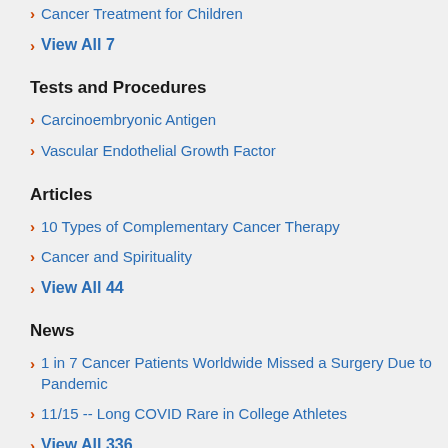Cancer Treatment for Children
View All 7
Tests and Procedures
Carcinoembryonic Antigen
Vascular Endothelial Growth Factor
Articles
10 Types of Complementary Cancer Therapy
Cancer and Spirituality
View All 44
News
1 in 7 Cancer Patients Worldwide Missed a Surgery Due to Pandemic
11/15 -- Long COVID Rare in College Athletes
View All 336
Herbs, Vitamins & Supplements
Antioxidants